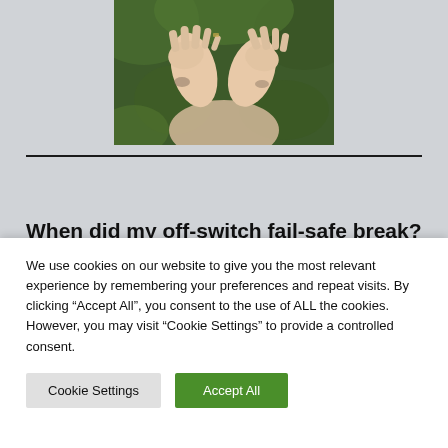[Figure (photo): Person holding up both hands towards the camera with palms facing outward, bokeh green background, tattoos visible on wrists and fingers.]
When did my off-switch fail-safe break?
We use cookies on our website to give you the most relevant experience by remembering your preferences and repeat visits. By clicking “Accept All”, you consent to the use of ALL the cookies. However, you may visit "Cookie Settings" to provide a controlled consent.